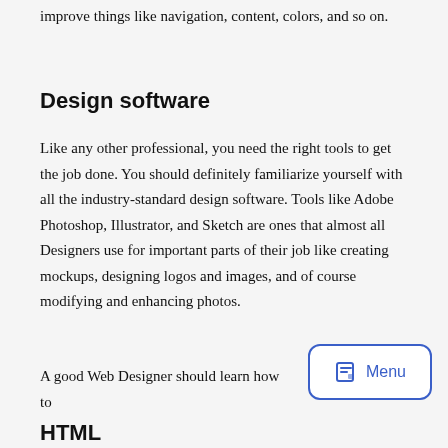improve things like navigation, content, colors, and so on.
Design software
Like any other professional, you need the right tools to get the job done. You should definitely familiarize yourself with all the industry-standard design software. Tools like Adobe Photoshop, Illustrator, and Sketch are ones that almost all Designers use for important parts of their job like creating mockups, designing logos and images, and of course modifying and enhancing photos.
A good Web Designer should learn how to
HTML